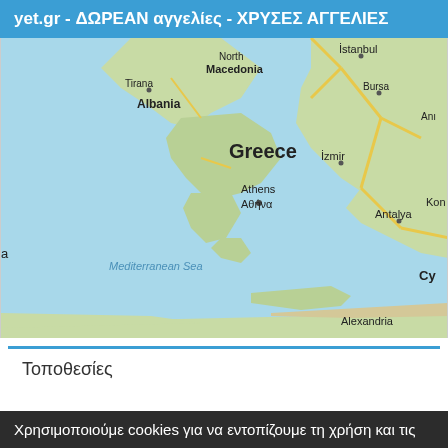yet.gr - ΔΩΡΕΑΝ αγγελίες - ΧΡΥΣΕΣ ΑΓΓΕΛΙΕΣ
[Figure (map): Google Maps view showing Greece, Albania, North Macedonia, Turkey (Istanbul, Bursa, Antalya, İzmir), Mediterranean Sea, and Alexandria. Athens/Αθήνα marked at center. Tirana, Mediterranean Sea label visible.]
Τοποθεσίες
Χρησιμοποιούμε cookies για να εντοπίζουμε τη χρήση και τις